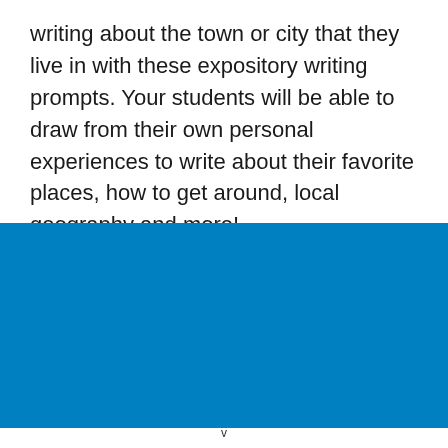writing about the town or city that they live in with these expository writing prompts. Your students will be able to draw from their own personal experiences to write about their favorite places, how to get around, local geography and more!
[Figure (other): Solid blue rectangle banner]
v